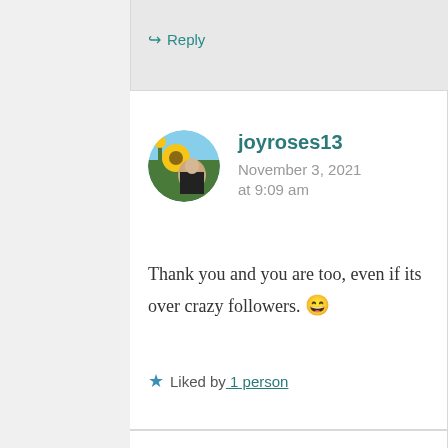↪ Reply
[Figure (photo): Circular avatar photo of a woman in front of sunflowers]
joyroses13
November 3, 2021 at 9:09 am
Thank you and you are too, even if its over crazy followers. 😄
★ Liked by 1 person